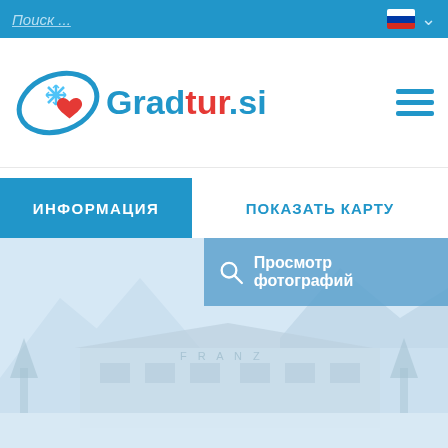Поиск ...
[Figure (logo): Gradtur.si logo with snowflake and heart icon in blue/red]
ИНФОРМАЦИЯ
ПОКАЗАТЬ КАРТУ
Просмотр фотографий
[Figure (photo): Washed-out photo of a building labeled FRANZ in a mountain setting with snow]